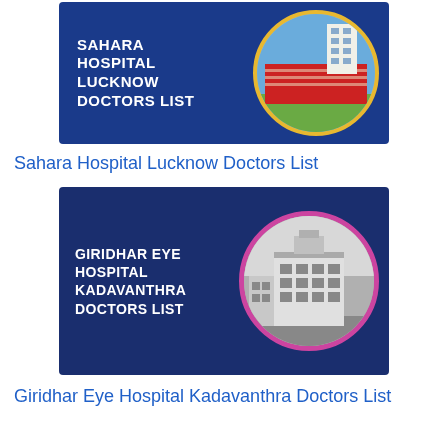[Figure (photo): Sahara Hospital Lucknow Doctors List promotional image with blue background, bold white text on left side and circular photo of hospital building on right]
Sahara Hospital Lucknow Doctors List
[Figure (photo): Giridhar Eye Hospital Kadavanthra Doctors List promotional image with dark blue background, bold white text on left side and circular black-and-white photo of hospital building on right with pink/magenta circle border]
Giridhar Eye Hospital Kadavanthra Doctors List